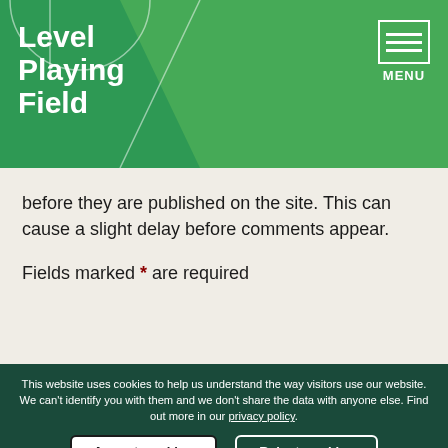Level Playing Field
before they are published on the site. This can cause a slight delay before comments appear.
Fields marked * are required
This website uses cookies to help us understand the way visitors use our website. We can't identify you with them and we don't share the data with anyone else. Find out more in our privacy policy.
Accept cookies | Reject cookies